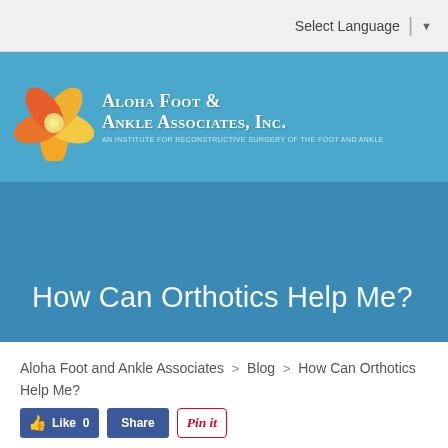Select Language
[Figure (logo): Aloha Foot & Ankle Associates, Inc. logo with plumeria flower and white text on blue banner background]
How Can Orthotics Help Me?
Aloha Foot and Ankle Associates > Blog > How Can Orthotics Help Me?
[Figure (other): Social sharing buttons: Like 0, Share (Facebook), Pin it (Pinterest)]